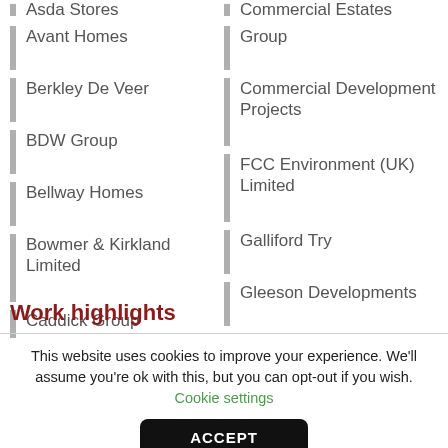Asda Stores (partial, cropped at top)
Avant Homes
Berkley De Veer
BDW Group
Bellway Homes
Bowmer & Kirkland Limited
Caddick Group
Commercial Estates Group (partial, cropped at top)
Commercial Development Projects
FCC Environment (UK) Limited
Galliford Try
Gleeson Developments
+ More
Work highlights
This website uses cookies to improve your experience. We'll assume you're ok with this, but you can opt-out if you wish. Cookie settings
ACCEPT